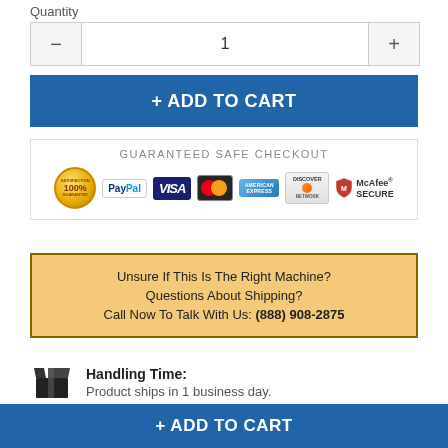Quantity
1
+ ADD TO CART
[Figure (infographic): Guaranteed Safe Checkout banner with payment icons: 100% Satisfaction badge, PayPal, VISA, Mastercard, American Express, Discover Network, McAfee Secure]
Unsure If This Is The Right Machine?
Questions About Shipping?
Call Now To Talk With Us: (888) 908-2875
Handling Time:
Product ships in 1 business day.
+ ADD TO CART